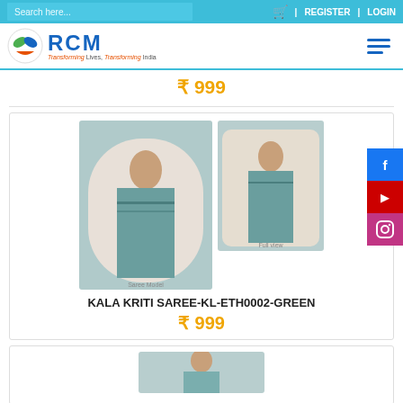Search here... | REGISTER | LOGIN
[Figure (logo): RCM logo with tagline 'Transforming Lives, Transforming India']
₹ 999
[Figure (photo): Two photos of a woman wearing KALA KRITI SAREE-KL-ETH0002-GREEN, a floral printed saree with teal/green border]
KALA KRITI SAREE-KL-ETH0002-GREEN
₹ 999
[Figure (photo): Partial photo of a woman wearing another saree, bottom of page]